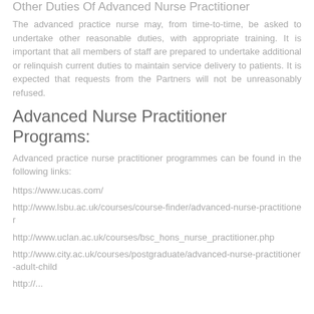Other Duties Of Advanced Nurse Practitioner
The advanced practice nurse may, from time-to-time, be asked to undertake other reasonable duties, with appropriate training. It is important that all members of staff are prepared to undertake additional or relinquish current duties to maintain service delivery to patients. It is expected that requests from the Partners will not be unreasonably refused.
Advanced Nurse Practitioner Programs:
Advanced practice nurse practitioner programmes can be found in the following links:
https://www.ucas.com/
http://www.lsbu.ac.uk/courses/course-finder/advanced-nurse-practitioner
http://www.uclan.ac.uk/courses/bsc_hons_nurse_practitioner.php
http://www.city.ac.uk/courses/postgraduate/advanced-nurse-practitioner-adult-child
http://...